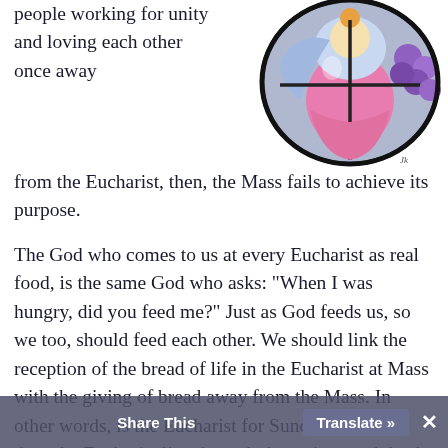[Figure (illustration): Circular stained-glass style illustration featuring a religious figure (Jesus/Eucharist symbol) with colorful segments including pink, blue, purple grapes, and orange tones, with a small signature at the bottom right of the circle.]
people working for unity and loving each other once away from the Eucharist, then, the Mass fails to achieve its purpose.
The God who comes to us at every Eucharist as real food, is the same God who asks: "When I was hungry, did you feed me?" Just as God feeds us, so we too, should feed each other. We should link the reception of the bread of life in the Eucharist at Mass with the giving of bread away from the Mass. In other words, is the Eucharist for Sundays only or does the Eucharist live through the actions and deeds of our daily lives?
This weekend we continue our Catholic faith traditions with the Sacrament of the Eucharist (Ho... Communion)... ...Community at M...
Share This   Translate »   ×